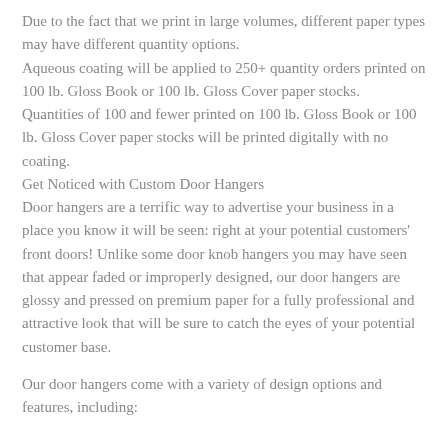Due to the fact that we print in large volumes, different paper types may have different quantity options.
Aqueous coating will be applied to 250+ quantity orders printed on 100 lb. Gloss Book or 100 lb. Gloss Cover paper stocks.
Quantities of 100 and fewer printed on 100 lb. Gloss Book or 100 lb. Gloss Cover paper stocks will be printed digitally with no coating.
Get Noticed with Custom Door Hangers
Door hangers are a terrific way to advertise your business in a place you know it will be seen: right at your potential customers' front doors! Unlike some door knob hangers you may have seen that appear faded or improperly designed, our door hangers are glossy and pressed on premium paper for a fully professional and attractive look that will be sure to catch the eyes of your potential customer base.
Our door hangers come with a variety of design options and features, including: